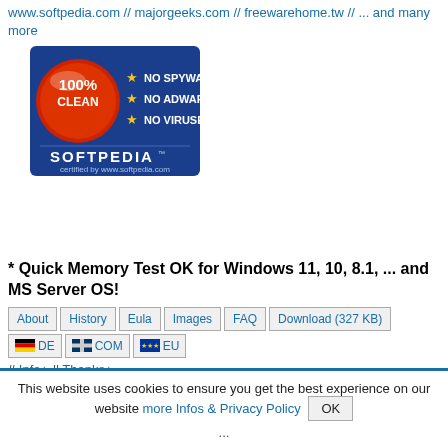www.softpedia.com // majorgeeks.com // freewarehome.tw // ... and many more
[Figure (logo): Softpedia 100% Clean certified badge - red circle with '100% CLEAN', blue background with stars indicating No Spyware, No Adware, No Viruses, certified by www.softpedia.com]
* Quick Memory Test OK for Windows 11, 10, 8.1, ... and MS Server OS!
About | History | Eula | Images | FAQ | Download (327 KB) | DE | COM | EU navigation buttons
# Info+ # Thanks+
This website uses cookies to ensure you get the best experience on our website more Infos & Privacy Policy OK
...